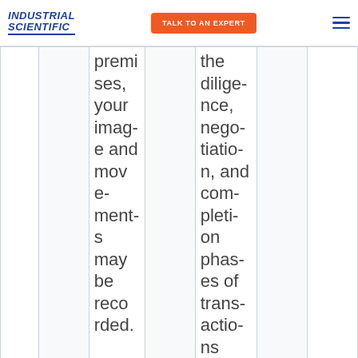INDUSTRIAL SCIENTIFIC | TALK TO AN EXPERT
|  |  | premises, your image and movements may be recorded. |  | the diligence, negotiation, and completion phases of transactions contemplated by us |  |  |